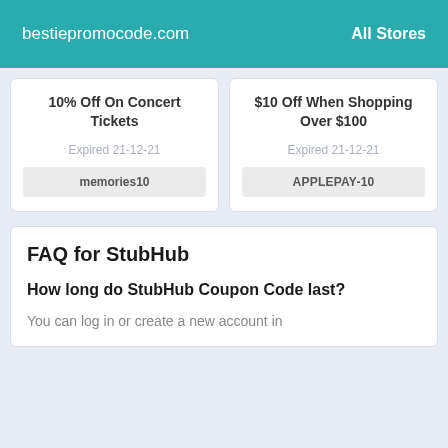bestiepromocode.com   All Stores
10% Off On Concert Tickets
Expired 21-12-21
memories10
$10 Off When Shopping Over $100
Expired 21-12-21
APPLEPAY-10
FAQ for StubHub
How long do StubHub Coupon Code last?
You can log in or create a new account in